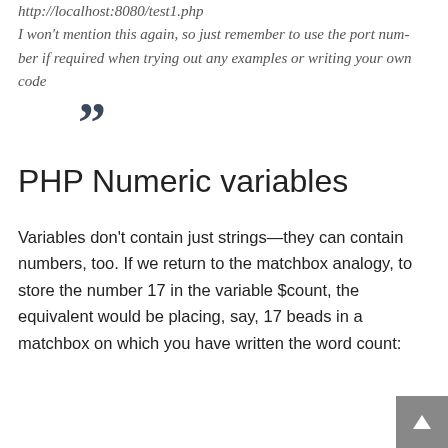http://localhost:8080/test1.php
I won't mention this again, so just remember to use the port number if required when trying out any examples or writing your own code
”
PHP Numeric variables
Variables don’t contain just strings—they can contain numbers, too. If we return to the matchbox analogy, to store the number 17 in the variable $count, the equivalent would be placing, say, 17 beads in a matchbox on which you have written the word count: